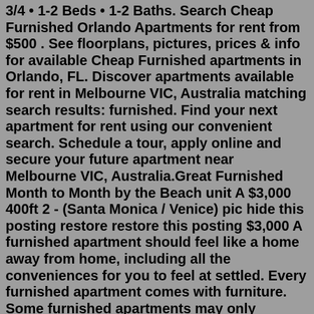3/4 • 1-2 Beds • 1-2 Baths. Search Cheap Furnished Orlando Apartments for rent from $500 . See floorplans, pictures, prices & info for available Cheap Furnished apartments in Orlando, FL. Discover apartments available for rent in Melbourne VIC, Australia matching search results: furnished. Find your next apartment for rent using our convenient search. Schedule a tour, apply online and secure your future apartment near Melbourne VIC, Australia.Great Furnished Month to Month by the Beach unit A $3,000 400ft 2 - (Santa Monica / Venice) pic hide this posting restore restore this posting $3,000 A furnished apartment should feel like a home away from home, including all the conveniences for you to feel at settled. Every furnished apartment comes with furniture. Some furnished apartments may only consist of bare necessities such as a bed, dresser, couch, television, dining table and chairs, basic cookware and a lamp. Page 1 / 2: 38 furnished apartments for rent Apartments. Favorite button. $3,700. 3 ... Apartment unit for rent. Favorite button.